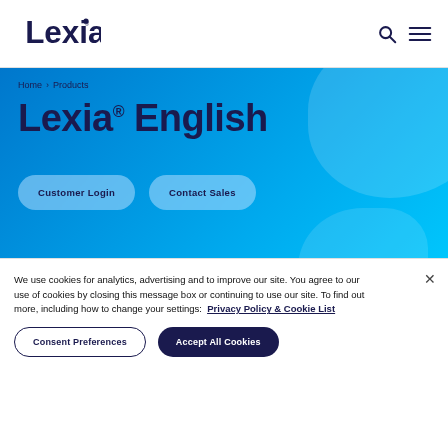[Figure (logo): Lexia logo in dark navy/purple with registered trademark symbol]
Lexia® English
Home › Products
Customer Login
Contact Sales
We use cookies for analytics, advertising and to improve our site. You agree to our use of cookies by closing this message box or continuing to use our site. To find out more, including how to change your settings:  Privacy Policy & Cookie List
Consent Preferences
Accept All Cookies